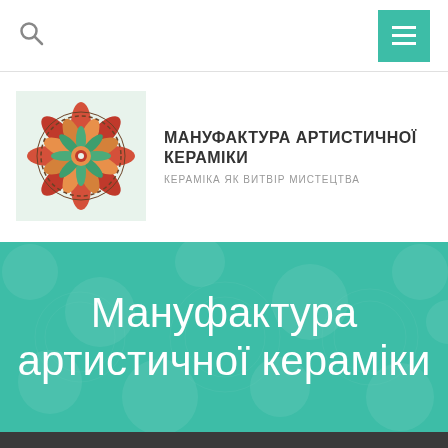Search | Menu
[Figure (logo): Decorative ceramic mandala logo on light green background]
МАНУФАКТУРА АРТИСТИЧНОЇ КЕРАМІКИ
КЕРАМІКА ЯК ВИТВІР МИСТЕЦТВА
[Figure (illustration): Teal hero banner with decorative ceramic mandala pattern overlay and white text: Мануфактура артистичної кераміки]